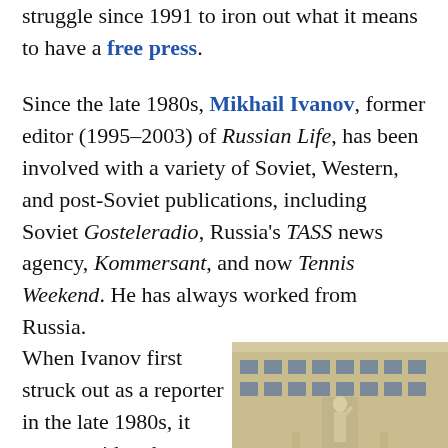struggle since 1991 to iron out what it means to have a free press.
Since the late 1980s, Mikhail Ivanov, former editor (1995–2003) of Russian Life, has been involved with a variety of Soviet, Western, and post-Soviet publications, including Soviet Gosteleradio, Russia's TASS news agency, Kommersant, and now Tennis Weekend. He has always worked from Russia.
When Ivanov first struck out as a reporter in the late 1980s, it was considered
[Figure (photo): Two men standing in front of a large Soviet-era building with a white statue visible. Both are smiling at the camera. The building has classical architecture with columns and ornate details.]